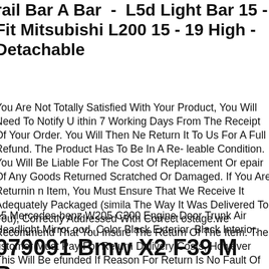rail Bar A Bar - L5d Light Bar 15 - Fit Mitsubishi L200 15 - 19 High - Detachable
You Are Not Totally Satisfied With Your Product, You Will Need To Notify Us Within 7 Working Days From The Receipt Of Your Order. You Will Then Need To Return It To Us For A Full Refund. The Product Has To Be In A Re-saleable Condition. You Will Be Liable For The Cost Of Replacement Or Repair Of Any Goods Returned Scratched Or Damaged. If You Are Returning An Item, You Must Ensure That We Receive It Adequately Packaged (similar to The Way It Was Delivered To You), Correctly Addressed With Correct Postage.we Recommend That You Insure The Return Of The Item. The Customer Must Pay For Return Delivery Costs, However This Will Be Refunded If Reason For Return Is No Fault Of Customer. The Customer Must Inform Us Of Any Returns Within 7 Working Days Of Receipt Of Goods. Please Check Goods Upon.
15 Mercedes-benz W205 C300 Engine Door Trunk Air Headlight Mirror Hood. Color Black Exterior. Black Interior.
079091 Bmw X2 F39 M Bumper — Pdx Complete Front End ...